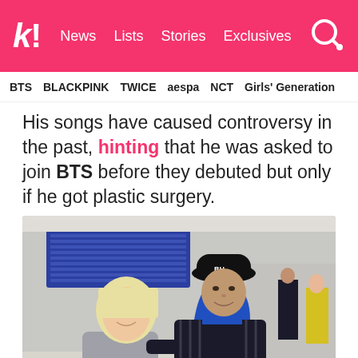k! News  Lists  Stories  Exclusives
BTS  BLACKPINK  TWICE  aespa  NCT  Girls' Generation
His songs have caused controversy in the past, hinting that he was asked to join BTS before they debuted but only if he got plastic surgery.
[Figure (photo): Two people posing together at an airport. On the left is a person with blonde hair wearing a grey long-sleeve top. On the right is a taller person wearing a black cap, blue hoodie, and black striped jacket with Supreme branding. They are in an airport terminal with departure boards visible in the background.]